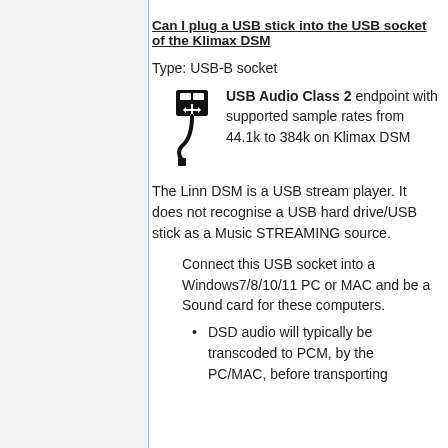Can I plug a USB stick into the USB socket of the Klimax DSM
Type: USB-B socket
[Figure (illustration): USB Type-B cable/plug icon — a stylized USB symbol with a rectangular connector head and a curved cable]
USB Audio Class 2 endpoint with supported sample rates from 44.1k to 384k on Klimax DSM
The Linn DSM is a USB stream player. It does not recognise a USB hard drive/USB stick as a Music STREAMING source.
Connect this USB socket into a Windows7/8/10/11 PC or MAC and be a Sound card for these computers.
DSD audio will typically be transcoded to PCM, by the PC/MAC, before transporting